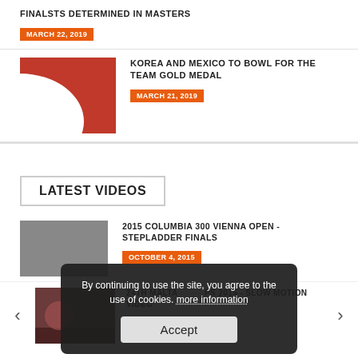FINALSTS DETERMINED IN MASTERS
MARCH 22, 2019
[Figure (photo): Red and white abstract/logo image]
KOREA AND MEXICO TO BOWL FOR THE TEAM GOLD MEDAL
MARCH 21, 2019
LATEST VIDEOS
2015 COLUMBIA 300 VIENNA OPEN - STEPLADDER FINALS
OCTOBER 4, 2015
24TH MALTA ... PS 2015 - SLOW MOTION VIDEO
JUNE 28, 2015
By continuing to use the site, you agree to the use of cookies. more information